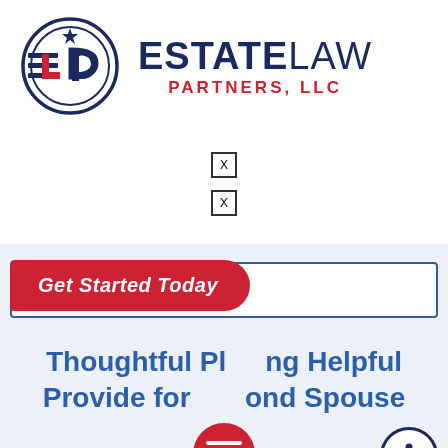[Figure (logo): Estate Law Partners LLC logo with circular ELP emblem in navy and red, and 'ESTATE LAW PARTNERS, LLC' text]
[Figure (other): Two small icon placeholders (missing glyph boxes) in the mid section]
[Figure (other): Search bar box with 'Get Started Today' red button overlay]
Thoughtful Planning Helpful. Provide for Second Spouse